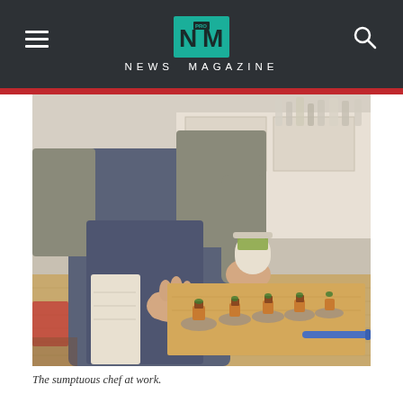NM PRO NEWS MAGAZINE
[Figure (photo): A chef in a blue apron and grey shirt works at a wooden kitchen counter, plating small appetizers on round crackers. The chef holds a small container with green sauce in one hand and places garnish on the bites with the other. Multiple plated appetizers are lined up on the cutting board. Kitchen cabinets and shelving visible in background.]
The sumptuous chef at work.